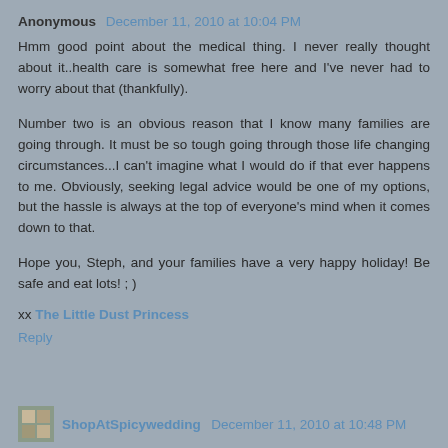Anonymous December 11, 2010 at 10:04 PM
Hmm good point about the medical thing. I never really thought about it..health care is somewhat free here and I've never had to worry about that (thankfully).
Number two is an obvious reason that I know many families are going through. It must be so tough going through those life changing circumstances...I can't imagine what I would do if that ever happens to me. Obviously, seeking legal advice would be one of my options, but the hassle is always at the top of everyone's mind when it comes down to that.
Hope you, Steph, and your families have a very happy holiday! Be safe and eat lots! ; )
xx The Little Dust Princess
Reply
ShopAtSpicywedding December 11, 2010 at 10:48 PM